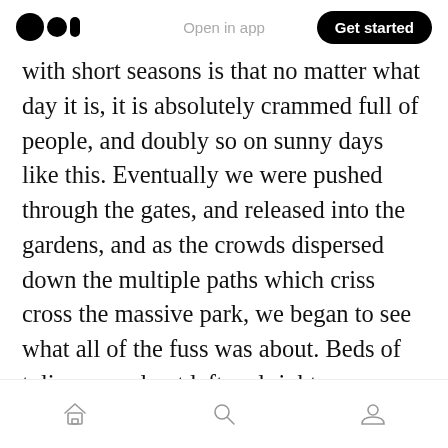Open in app | Get started
with short seasons is that no matter what day it is, it is absolutely crammed full of people, and doubly so on sunny days like this. Eventually we were pushed through the gates, and released into the gardens, and as the crowds dispersed down the multiple paths which criss cross the massive park, we began to see what all of the fuss was about. Beds of tulips spread out left and right, artistically planted, with carefully selected colour combinations and patterns. Now don't be fooled, the majority of the flowers on display are tulips but there are the addition of others, for example hyacinths, daffodils and roses, all
Home Search Profile